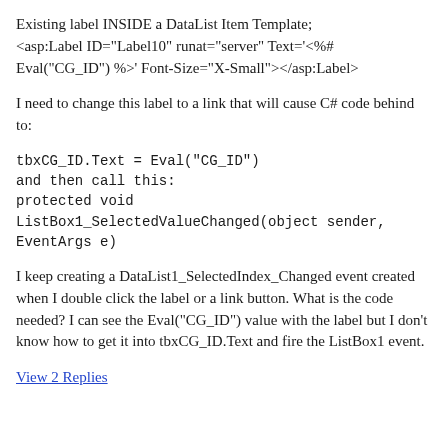Existing label INSIDE a DataList Item Template; <asp:Label ID="Label10" runat="server" Text='<%# Eval("CG_ID") %>' Font-Size="X-Small"></asp:Label>
I need to change this label to a link that will cause C# code behind to:
tbxCG_ID.Text = Eval("CG_ID")
and then call this:
protected void ListBox1_SelectedValueChanged(object sender, EventArgs e)
I keep creating a DataList1_SelectedIndex_Changed event created when I double click the label or a link button. What is the code needed? I can see the Eval("CG_ID") value with the label but I don't know how to get it into tbxCG_ID.Text and fire the ListBox1 event.
View 2 Replies